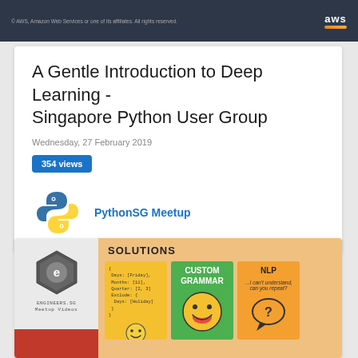AWS — Amazon Web Services or one of its affiliates. All rights reserved.
A Gentle Introduction to Deep Learning - Singapore Python User Group
Wednesday, 27 February 2019
354 views
PythonSG Meetup
[Figure (screenshot): Engineers.SG Meetup Videos thumbnail alongside a slide showing SOLUTIONS with three panels: a yellow code block panel, a green CUSTOM GRAMMAR panel with smiley face, and an orange NLP panel with speech bubble.]